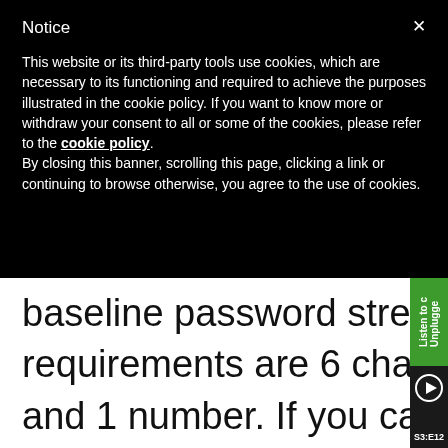Notice
This website or its third-party tools use cookies, which are necessary to its functioning and required to achieve the purposes illustrated in the cookie policy. If you want to know more or withdraw your consent to all or some of the cookies, please refer to the cookie policy.
By closing this banner, scrolling this page, clicking a link or continuing to browse otherwise, you agree to the use of cookies.
baseline password strength requirements are 6 characters and 1 number. If you can trust that no one is planning on using Password1 then you can leave it there, otherwise, we recommend at least 8